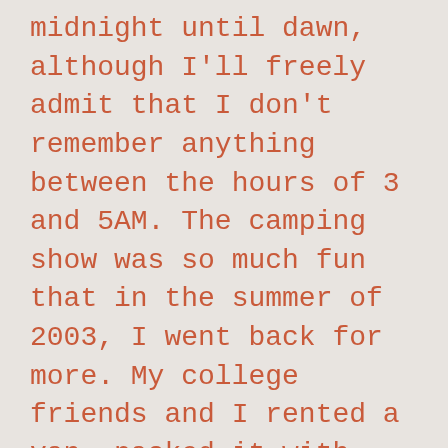midnight until dawn, although I'll freely admit that I don't remember anything between the hours of 3 and 5AM. The camping show was so much fun that in the summer of 2003, I went back for more. My college friends and I rented a van, packed it with booze, and headed up to Limestone Maine for IT. For what would turn out to be my last time around the bend, I finagled backstage passes to their sold-out 20th-anniversary show in Boston and nearly shit myself with joy when Mike Gordon appeared a foot from my left hand with a plate of cookies.